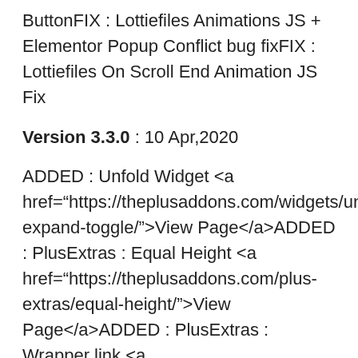ButtonFIX : Lottiefiles Animations JS + Elementor Popup Conflict bug fixFIX : Lottiefiles On Scroll End Animation JS Fix
Version 3.3.0 : 10 Apr,2020
ADDED : Unfold Widget <a href="https://theplusaddons.com/widgets/unfold-expand-toggle/">View Page</a>ADDED : PlusExtras : Equal Height <a href="https://theplusaddons.com/plus-extras/equal-height/">View Page</a>ADDED : PlusExtras : Wrapper link <a href="https://theplusaddons.com/plus-extras/wrapper-link/">View Page</a>ADDED : Dynamic Category : Column 5 option for desktopUPDATE : Dynamic Listing :